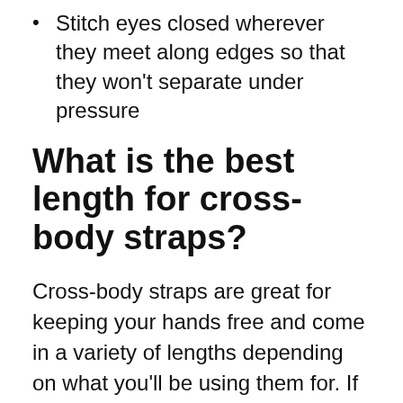Stitch eyes closed wherever they meet along edges so that they won't separate under pressure
What is the best length for cross-body straps?
Cross-body straps are great for keeping your hands free and come in a variety of lengths depending on what you'll be using them for. If you're just trying to carry around the essentials such as car keys, cash, and credit cards then look for something shorter than 36 inches so that there's less chance of it dragging along the